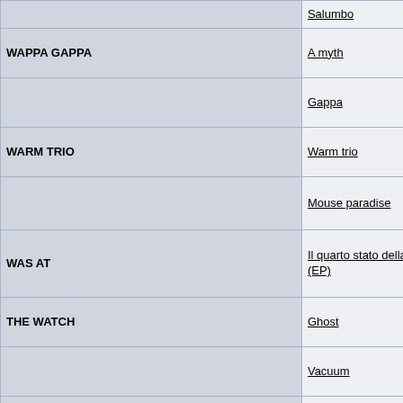| Artist | Album | Label |  |
| --- | --- | --- | --- |
|  | Salumbo | Crypto-Ludwig | (M |
| WAPPA GAPPA | A myth | Musea |  |
|  | Gappa | InterMusic/Musea |  |
| WARM TRIO | Warm trio | RG Records |  |
|  | Mouse paradise | RG-Records |  |
| WAS AT | Il quarto stato della materia (EP) | autoprod. |  |
| THE WATCH | Ghost | Lizard |  |
|  | Vacuum | Lizard/Pick Up |  |
|  | Primitive | Lizard |  |
|  | Planet Earth? | Lizard Records |  |
|  | Timeless | Pick Up Records |  |
|  | Seven | Pick Up Records |  |